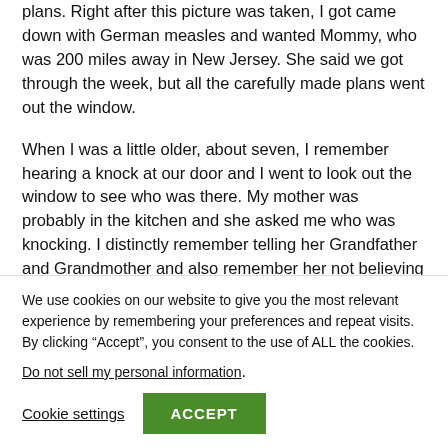plans. Right after this picture was taken, I got came down with German measles and wanted Mommy, who was 200 miles away in New Jersey. She said we got through the week, but all the carefully made plans went out the window.
When I was a little older, about seven, I remember hearing a knock at our door and I went to look out the window to see who was there. My mother was probably in the kitchen and she asked me who was knocking. I distinctly remember telling her Grandfather and Grandmother and also remember her not believing me. Grandfather was on one of his Western Union
We use cookies on our website to give you the most relevant experience by remembering your preferences and repeat visits. By clicking “Accept”, you consent to the use of ALL the cookies.
Do not sell my personal information.
Cookie settings
ACCEPT